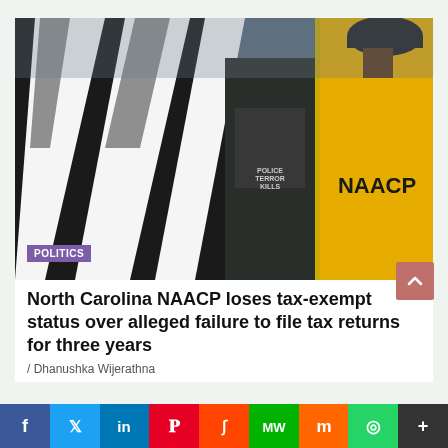[Figure (photo): Photo of NAACP members at a rally, one wearing a yellow jacket with NAACP on the back, another with a black and white patterned jacket, with a POLITICS badge overlay in the lower left.]
North Carolina NAACP loses tax-exempt status over alleged failure to file tax returns for three years
/ Dhanushka Wijerathna